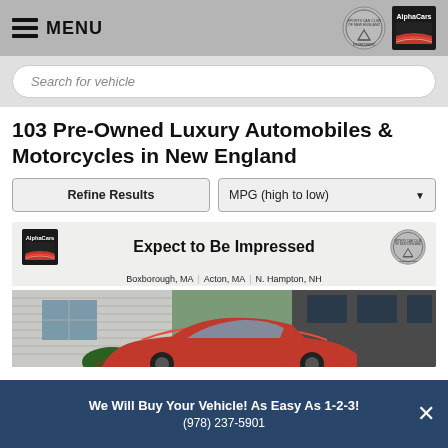MENU
Search for vehicle
103 Pre-Owned Luxury Automobiles & Motorcycles in New England
Refine Results
MPG (high to low)
[Figure (screenshot): AlphaCars dealership banner: 'Expect to Be Impressed' with locations Boxborough MA, Acton MA, N. Hampton NH, and a red car in the showroom]
We Will Buy Your Vehicle! As Easy As 1-2-3!
(978) 237-5901